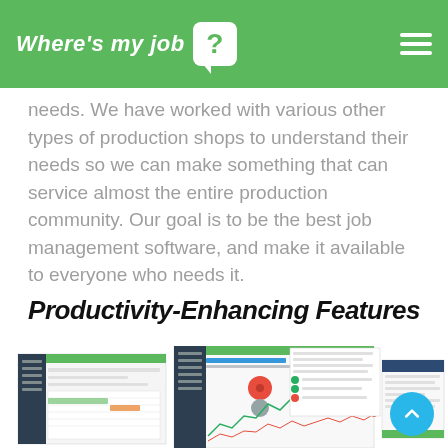Where's my job? [logo/navigation header]
needs. We have worked with various other types of production shops to understand their needs so we can make something that can service almost the entire production community. Our goal is to be the best job management software, and make it available to everyone who needs it.
Productivity-Enhancing Features
[Figure (screenshot): Application screenshots showing dashboard calendar and job management UI with charts and line graphs]